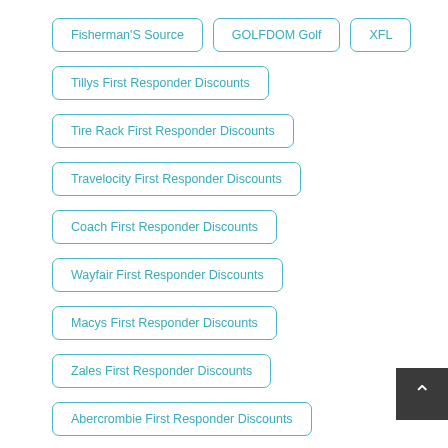Fisherman'S Source
GOLFDOM Golf
XFL
Tillys First Responder Discounts
Tire Rack First Responder Discounts
Travelocity First Responder Discounts
Coach First Responder Discounts
Wayfair First Responder Discounts
Macys First Responder Discounts
Zales First Responder Discounts
Abercrombie First Responder Discounts